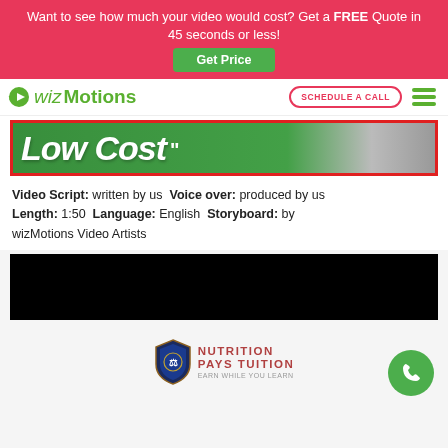Want to see how much your video would cost? Get a FREE Quote in 45 seconds or less! Get Price
[Figure (logo): wizMotions logo with green play button icon and text]
SCHEDULE A CALL
[Figure (screenshot): Video thumbnail showing 'Low Cost' text on green background with red border]
Video Script: written by us Voice over: produced by us Length: 1:50 Language: English Storyboard: by wizMotions Video Artists
[Figure (screenshot): Black video player area]
[Figure (logo): Nutrition Pays Tuition logo with shield emblem]
[Figure (other): Green circular phone/call button]